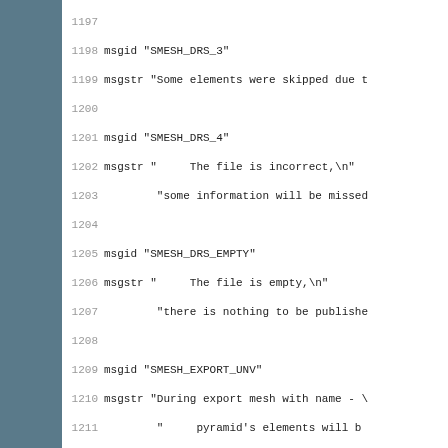Source code / localization PO file lines 1197-1228 showing msgid/msgstr pairs for SMESH application strings